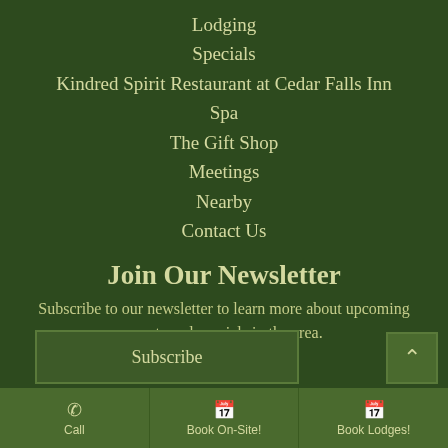Lodging
Specials
Kindred Spirit Restaurant at Cedar Falls Inn
Spa
The Gift Shop
Meetings
Nearby
Contact Us
Join Our Newsletter
Subscribe to our newsletter to learn more about upcoming events and specials in the area.
Subscribe
Call
Book On-Site!
Book Lodges!